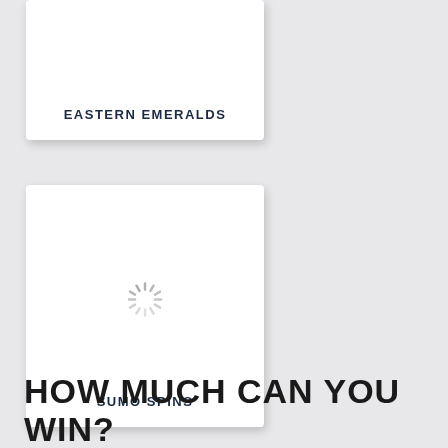[Figure (screenshot): White card with text label EASTERN EMERALDS at the bottom, on a light grey background]
EASTERN EMERALDS
[Figure (screenshot): White card with a loading spinner icon in the center and text label SUMO SPINS at the bottom]
SUMO SPINS
HOW MUCH CAN YOU WIN?